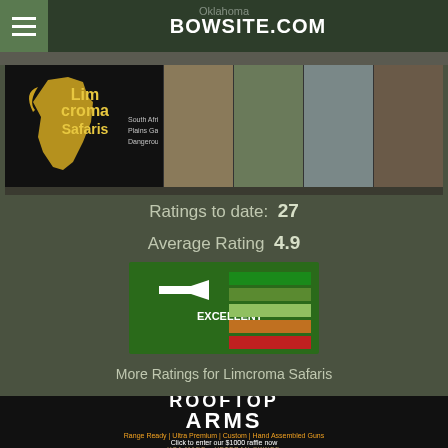BOWSITE.COM
Oklahoma
[Figure (photo): Limcroma Safaris advertisement banner with logo and hunting photos]
Ratings to date: 27
Average Rating 4.9
[Figure (infographic): EXCELLENT rating badge with green bars showing rating level]
More Ratings for Limcroma Safaris
[Figure (photo): Rooftop Arms advertisement banner - Range Ready | Ultra Premium | Custom | Hand Assembled Guns - Click to enter our $1000 raffle now - USA MADE - VETERAN OWNED]